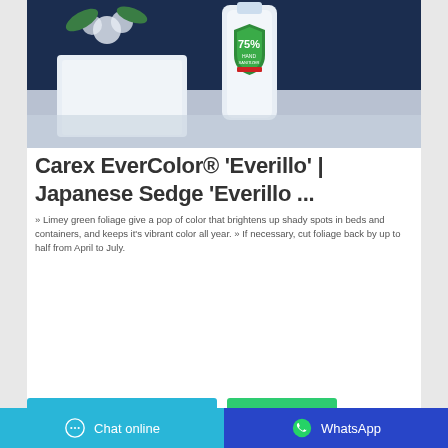[Figure (photo): Product photo of a hand sanitizer bottle (75% Hand Sanitizer label visible) placed on a white surface against a dark navy blue background, with white flowers partially visible.]
Carex EverColor® 'Everillo' | Japanese Sedge 'Everillo ...
» Limey green foliage give a pop of color that brightens up shady spots in beds and containers, and keeps it's vibrant color all year. » If necessary, cut foliage back by up to half from April to July.